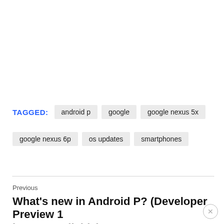TAGGED: android p  google  google nexus 5x  google nexus 6p  os updates  smartphones
Previous
What's new in Android P? (Developer Preview 1 is now available)